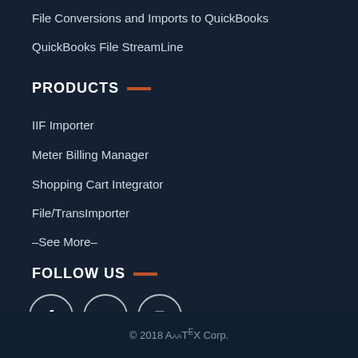File Conversions and Imports to QuickBooks
QuickBooks File StreamLine
PRODUCTS
IIF Importer
Meter Billing Manager
Shopping Cart Integrator
File/TransImporter
–See More–
FOLLOW US
[Figure (infographic): Social media icons for Facebook, Twitter, and YouTube, displayed as circular outline buttons]
© 2018 AaaTEX Corp.